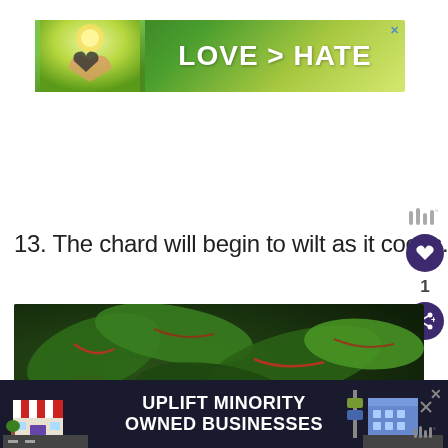[Figure (photo): Advertisement banner: 'LOVE > HATE' with hands making heart shape against green background]
13. The chard will begin to wilt as it cooks.
[Figure (photo): Close-up photo of Swiss chard leaves with red veins on dark background, wilting in pan]
WHAT'S NEXT → Skillet Macaroni wit...
[Figure (photo): Bottom advertisement: 'UPLIFT MINORITY OWNED BUSINESSES' on dark blue background with illustrated storefront]